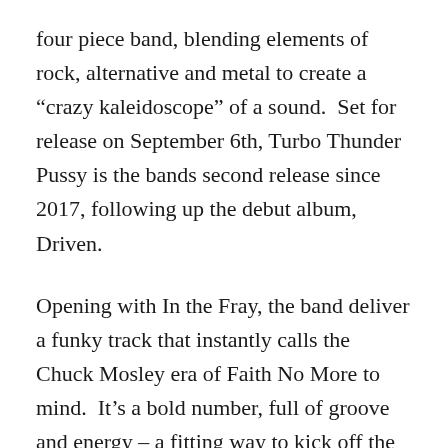four piece band, blending elements of rock, alternative and metal to create a “crazy kaleidoscope” of a sound.  Set for release on September 6th, Turbo Thunder Pussy is the bands second release since 2017, following up the debut album, Driven.
Opening with In the Fray, the band deliver a funky track that instantly calls the Chuck Mosley era of Faith No More to mind.  It’s a bold number, full of groove and energy – a fitting way to kick off the EP.
Continuing on through the seven minute track,